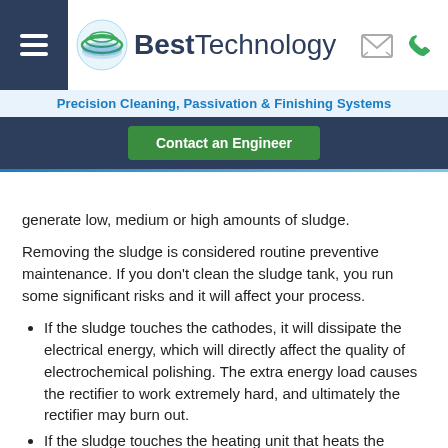Best Technology — Precision Cleaning, Passivation & Finishing Systems
generate low, medium or high amounts of sludge.
Removing the sludge is considered routine preventive maintenance. If you don't clean the sludge tank, you run some significant risks and it will affect your process.
If the sludge touches the cathodes, it will dissipate the electrical energy, which will directly affect the quality of electrochemical polishing. The extra energy load causes the rectifier to work extremely hard, and ultimately the rectifier may burn out.
If the sludge touches the heating unit that heats the